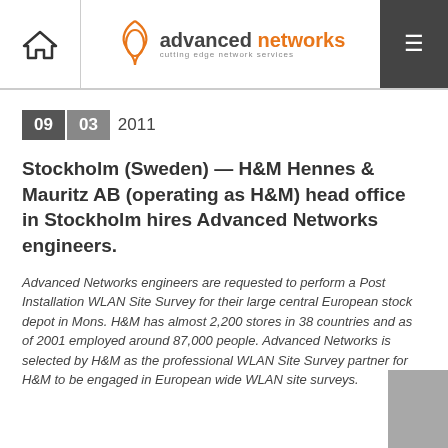Advanced Networks — cutting edge network services
09 03 2011
Stockholm (Sweden) — H&M Hennes & Mauritz AB (operating as H&M) head office in Stockholm hires Advanced Networks engineers.
Advanced Networks engineers are requested to perform a Post Installation WLAN Site Survey for their large central European stock depot in Mons. H&M has almost 2,200 stores in 38 countries and as of 2001 employed around 87,000 people. Advanced Networks is selected by H&M as the professional WLAN Site Survey partner for H&M to be engaged in European wide WLAN site surveys.